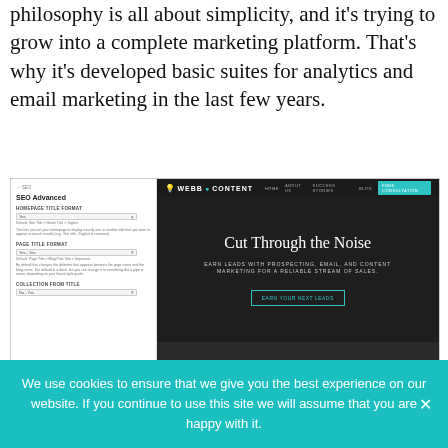philosophy is all about simplicity, and it's trying to grow into a complete marketing platform. That's why it's developed basic suites for analytics and email marketing in the last few years.
[Figure (screenshot): A screenshot showing two panels: a left panel with an SEO Advanced settings UI (showing fields for SEO title format, page title format, collection from title), and a right panel showing the Webb Content website with a dark hero section reading 'Cut Through the Noise' and subtitle text about earning leads with prospecting, email, and content marketing.]
The Benefits of Optimizing
We use cookies to ensure that we give you the best experience on our website. If you continue to use this site we will assume that you are happy with it.